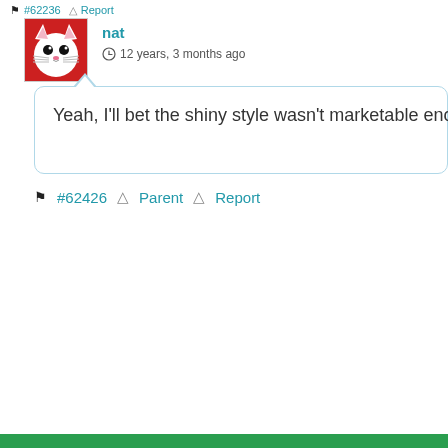#62236 Report
[Figure (illustration): Avatar of user 'nat' — cartoon white cat with red background, black eyes, pink nose, whiskers.]
nat
12 years, 3 months ago
Yeah, I'll bet the shiny style wasn't marketable enoug
#62426 ⬧ Parent △ Report